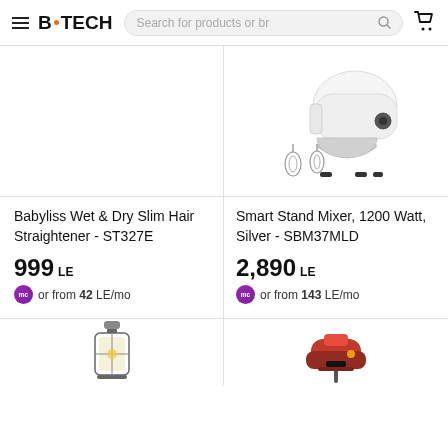B.TECH — Search for products or br
[Figure (photo): Babyliss hair straightener product image (not visible/empty area)]
Babyliss Wet & Dry Slim Hair Straightener - ST327E
999 LE
or from 42 LE/mo
[Figure (photo): Smart Stand Mixer product image, white/silver stand mixer with bowl and attachments]
Smart Stand Mixer, 1200 Watt, Silver - SBM37MLD
2,890 LE
or from 143 LE/mo
[Figure (photo): Small lantern-style product, bottom row left]
[Figure (photo): Small appliance with pink/red/black color, bottom row right]